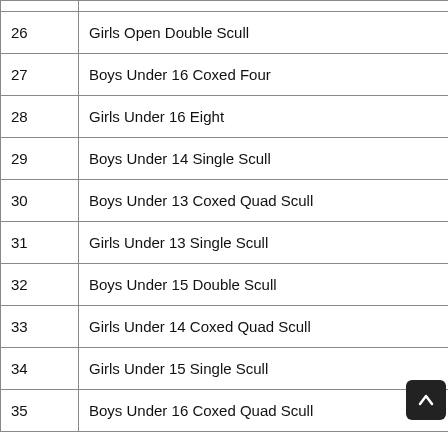|  |  |
| --- | --- |
|  |  |
| 26 | Girls Open Double Scull |
| 27 | Boys Under 16 Coxed Four |
| 28 | Girls Under 16 Eight |
| 29 | Boys Under 14 Single Scull |
| 30 | Boys Under 13 Coxed Quad Scull |
| 31 | Girls Under 13 Single Scull |
| 32 | Boys Under 15 Double Scull |
| 33 | Girls Under 14 Coxed Quad Scull |
| 34 | Girls Under 15 Single Scull |
| 35 | Boys Under 16 Coxed Quad Scull |